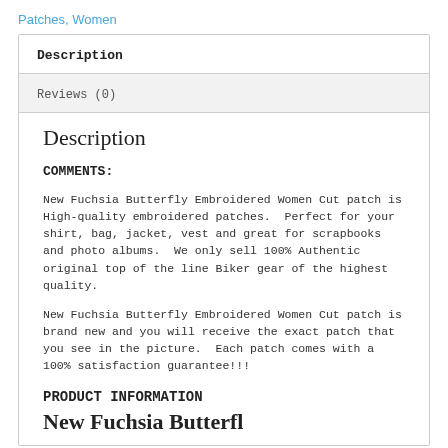Patches, Women
Description
Reviews (0)
Description
COMMENTS:
New Fuchsia Butterfly Embroidered Women Cut patch is High-quality embroidered patches. Perfect for your shirt, bag, jacket, vest and great for scrapbooks and photo albums. We only sell 100% Authentic original top of the line Biker gear of the highest quality.
New Fuchsia Butterfly Embroidered Women Cut patch is brand new and you will receive the exact patch that you see in the picture. Each patch comes with a 100% satisfaction guarantee!!!
PRODUCT INFORMATION
New Fuchsia Butterfl u